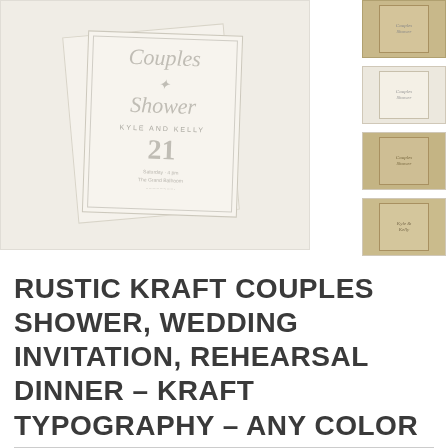[Figure (photo): Main product image showing rustic kraft paper wedding invitation cards with script typography reading 'Couples Shower' and 'KYLE AND KELLY' with date 21, displayed on a light linen-textured background. Two overlapping invitation cards shown.]
[Figure (photo): Thumbnail 1: Small preview of rustic kraft invitation on tan/kraft background]
[Figure (photo): Thumbnail 2: Small preview of invitation on lighter background showing script typography]
[Figure (photo): Thumbnail 3: Small preview of invitation with vintage typography on kraft background]
[Figure (photo): Thumbnail 4: Small preview of invitation on tan kraft background]
RUSTIC KRAFT COUPLES SHOWER, WEDDING INVITATION, REHEARSAL DINNER - KRAFT TYPOGRAPHY - ANY COLOR SCHEME, ANY EVENT